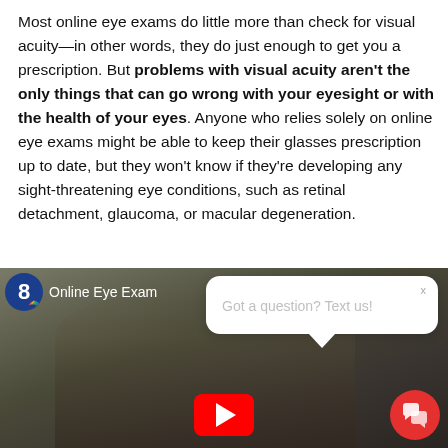Most online eye exams do little more than check for visual acuity—in other words, they do just enough to get you a prescription. But problems with visual acuity aren't the only things that can go wrong with your eyesight or with the health of your eyes. Anyone who relies solely on online eye exams might be able to keep their glasses prescription up to date, but they won't know if they're developing any sight-threatening eye conditions, such as retinal detachment, glaucoma, or macular degeneration.
[Figure (screenshot): A video thumbnail showing NBC 8 Online Eye Exam video with a woman wearing glasses, a YouTube play button, a chat popup saying 'Got a question? Text us!' with an X close button, and a red chat icon button in the bottom right.]